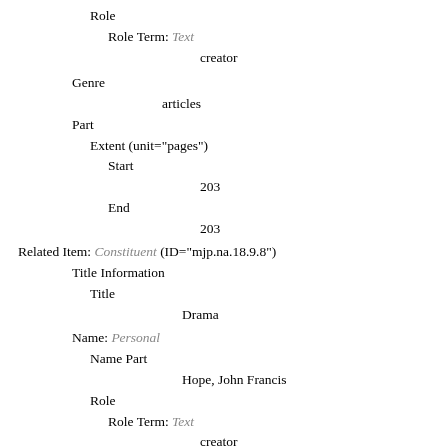Role
Role Term: Text
creator
Genre
articles
Part
Extent (unit="pages")
Start
203
End
203
Related Item: Constituent (ID="mjp.na.18.9.8")
Title Information
Title
Drama
Name: Personal
Name Part
Hope, John Francis
Role
Role Term: Text
creator
Genre
articles
Part